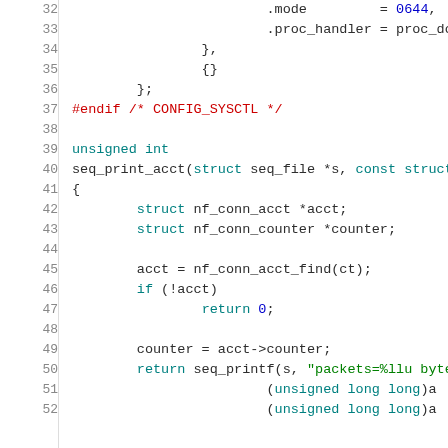[Figure (screenshot): Source code snippet showing lines 32-52 of a C kernel networking file. Lines show sysctl table entries with .mode and .proc_handler fields, closing braces, #endif preprocessor directive, and seq_print_acct function definition with struct declarations, nf_conn_acct_find call, and seq_printf return statement.]